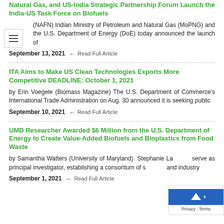Natural Gas, and US-India Strategic Partnership Forum Launch the India-US Task Force on Biofuels
(NAFN) Indian Ministry of Petroleum and Natural Gas (MoPNG) and the U.S. Department of Energy (DoE) today announced the launch of
September 13, 2021  ← Read Full Article
ITA Aims to Make US Clean Technologies Exports More Competitive DEADLINE: October 1, 2021
by Erin Voegele (Biomass Magazine) The U.S. Department of Commerce's International Trade Administration on Aug. 30 announced it is seeking public
September 10, 2021  ← Read Full Article
UMD Researcher Awarded $6 Million from the U.S. Department of Energy to Create Value-Added Biofuels and Bioplastics from Food Waste
by Samantha Watters (University of Maryland)  Stephanie La serve as principal investigator, establishing a consortium of s and industry
September 1, 2021  ← Read Full Article